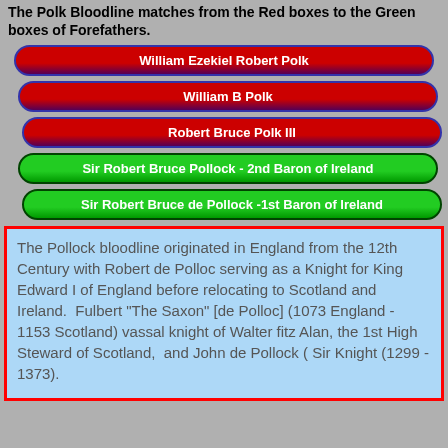The Polk Bloodline matches from the Red boxes to the Green boxes of Forefathers.
[Figure (organizational-chart): Ancestry/bloodline chart showing 3 red boxes (William Ezekiel Robert Polk, William B Polk, Robert Bruce Polk III) and 2 green boxes (Sir Robert Bruce Pollock - 2nd Baron of Ireland, Sir Robert Bruce de Pollock -1st Baron of Ireland) arranged vertically with slight left indent progression.]
The Pollock bloodline originated in England from the 12th Century with Robert de Polloc serving as a Knight for King Edward I of England before relocating to Scotland and Ireland.  Fulbert "The Saxon" [de Polloc] (1073 England - 1153 Scotland) vassal knight of Walter fitz Alan, the 1st High Steward of Scotland,  and John de Pollock ( Sir Knight (1299 - 1373).